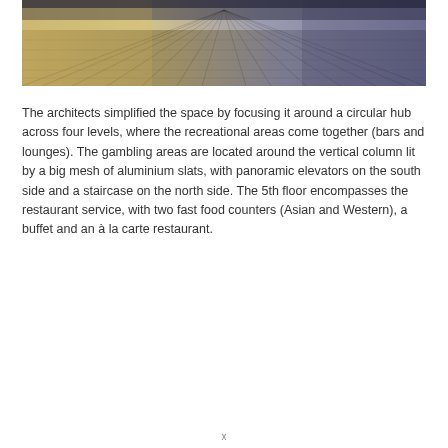[Figure (photo): Photograph of a wooden deck or boardwalk with planks receding into the distance, lit with warm golden light on the left and cooler blue-grey tones on the right.]
The architects simplified the space by focusing it around a circular hub across four levels, where the recreational areas come together (bars and lounges). The gambling areas are located around the vertical column lit by a big mesh of aluminium slats, with panoramic elevators on the south side and a staircase on the north side. The 5th floor encompasses the restaurant service, with two fast food counters (Asian and Western), a buffet and an à la carte restaurant.
x